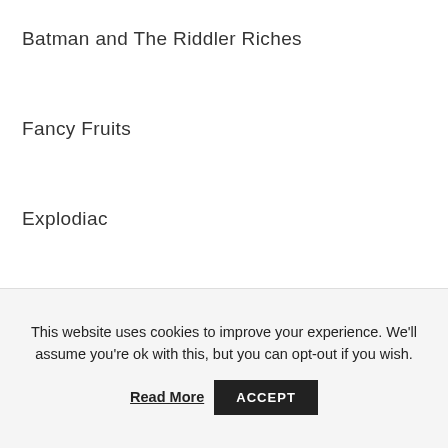Batman and The Riddler Riches
Fancy Fruits
Explodiac
Golden Gorilla
This website uses cookies to improve your experience. We'll assume you're ok with this, but you can opt-out if you wish.
Read More  ACCEPT